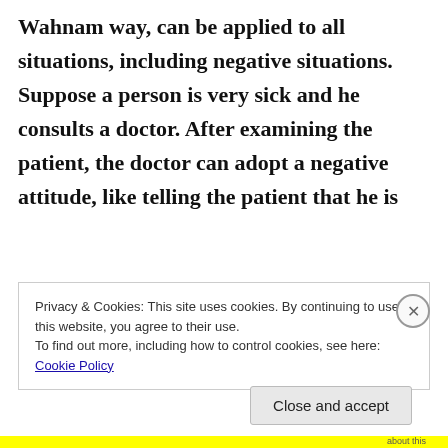Wahnam way, can be applied to all situations, including negative situations. Suppose a person is very sick and he consults a doctor. After examining the patient, the doctor can adopt a negative attitude, like telling the patient that he is
Privacy & Cookies: This site uses cookies. By continuing to use this website, you agree to their use.
To find out more, including how to control cookies, see here: Cookie Policy
Close and accept